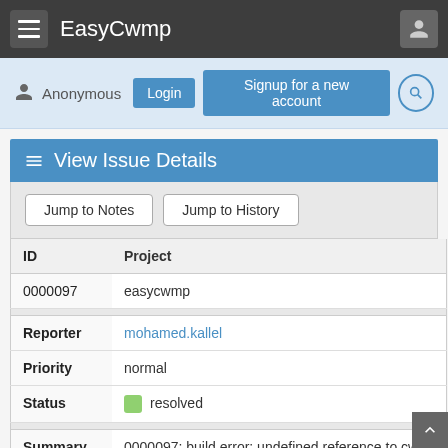EasyCwmp
Anonymous Login Signup for a new account
View Issue Details
Jump to Notes   Jump to History
| ID | Project |
| --- | --- |
| 0000097 | easycwmp |
| Reporter | Priority | Status |
| --- | --- | --- |
| mohamed.kallel | normal | resolved |
| Summary | Description |
| --- | --- |
| 0000097: build error: undefined reference to cwmp_add_ir | this bug is issued by Pedro by email:

Hi, |